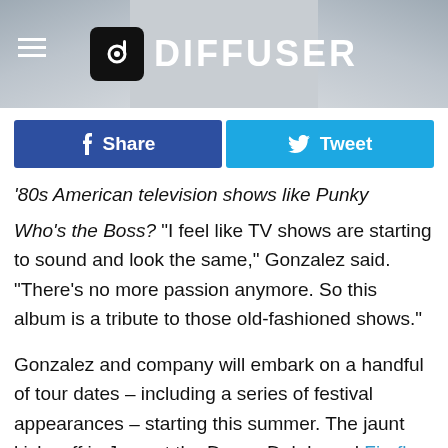DIFFUSER
Share | Tweet
'80s American television shows like Punky Brewster and Who's the Boss? "I feel like TV shows are starting to sound and look the same," Gonzalez said. "There's no more passion anymore. So this album is a tribute to those old-fashioned shows."
Gonzalez and company will embark on a handful of tour dates – including a series of festival appearances – starting this summer. The jaunt kicks off in June at the Dover, Del.-based Firefly Festival, which runs from June 16-19. Then they will make stops in Spain, Portugal, Hungary, Finland and Sweden. Check out the complete schedule at the bottom of the page.